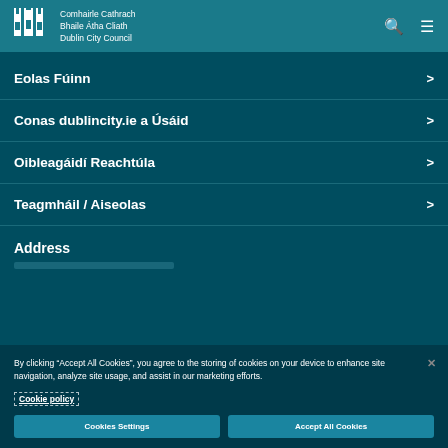Comhairle Cathrach Bhaile Átha Cliath Dublin City Council
Eolas Fúinn
Conas dublincity.ie a Úsáid
Oibleagáidí Reachtúla
Teagmháil / Aiseolas
Address
By clicking "Accept All Cookies", you agree to the storing of cookies on your device to enhance site navigation, analyze site usage, and assist in our marketing efforts.
Cookie policy
Cookies Settings
Accept All Cookies